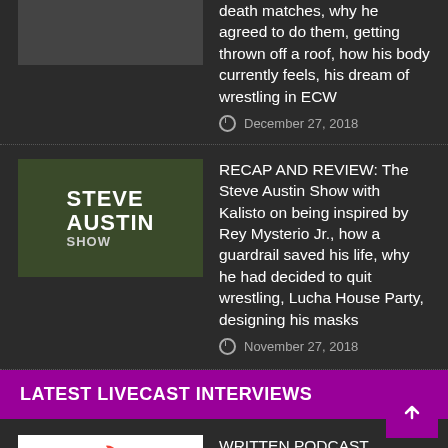death matches, why he agreed to do them, getting thrown off a roof, how his body currently feels, his dream of wrestling in ECW
December 27, 2018
[Figure (photo): Steve Austin Show logo with host photo]
RECAP AND REVIEW: The Steve Austin Show with Kalisto on being inspired by Rey Mysterio Jr., how a guardrail saved his life, why he had decided to quit wrestling, Lucha House Party, designing his masks
November 27, 2018
LATEST LIVECAST INTERVIEWS
[Figure (logo): PW Torch logo - red flame and bold text on white background]
WRITTEN PODCAST RECAP: PWTorch Interview Thursday with Hurricane Helms on the Hardy situation, which wrestler has the perfect hairline, who the sweatiest people are in wrestling
June 18, 2017